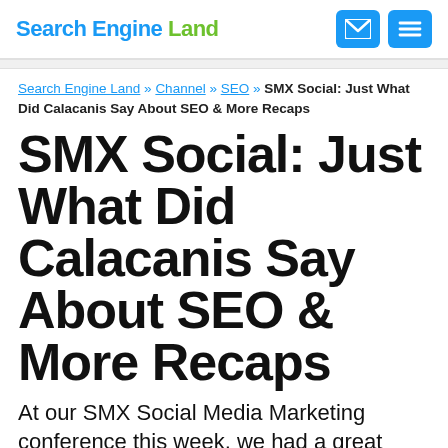Search Engine Land
Search Engine Land » Channel » SEO » SMX Social: Just What Did Calacanis Say About SEO & More Recaps
SMX Social: Just What Did Calacanis Say About SEO & More Recaps
At our SMX Social Media Marketing conference this week, we had a great panel on the future of human powered